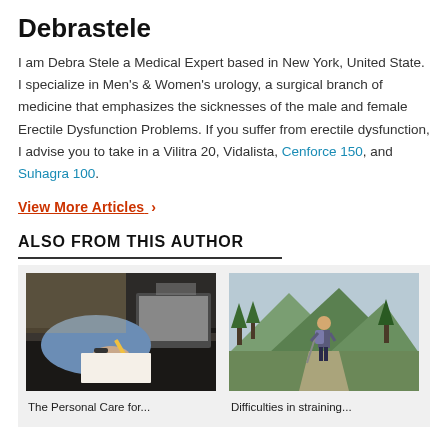Debrastele
I am Debra Stele a Medical Expert based in New York, United State. I specialize in Men's & Women's urology, a surgical branch of medicine that emphasizes the sicknesses of the male and female Erectile Dysfunction Problems. If you suffer from erectile dysfunction, I advise you to take in a Vilitra 20, Vidalista, Cenforce 150, and Suhagra 100.
View More Articles >
ALSO FROM THIS AUTHOR
[Figure (photo): Person writing with a pen on paper near a laptop]
[Figure (photo): Person with a backpack hiking on a mountain trail]
The Personal Care for...
Difficulties in straining...